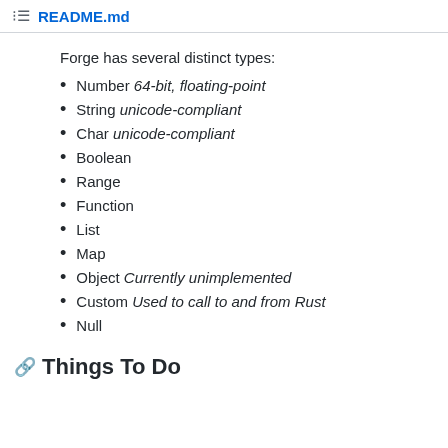README.md
Forge has several distinct types:
Number 64-bit, floating-point
String unicode-compliant
Char unicode-compliant
Boolean
Range
Function
List
Map
Object Currently unimplemented
Custom Used to call to and from Rust
Null
Things To Do